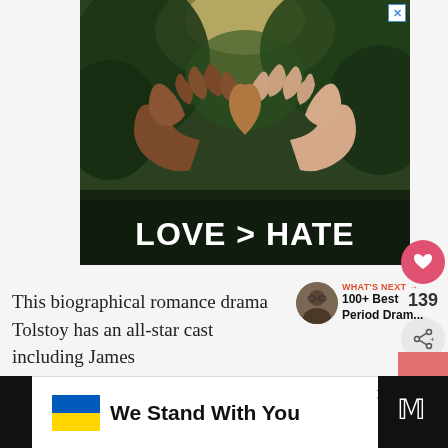[Figure (photo): Advertisement photo showing two hands of different skin tones forming a heart shape against a green forest background, with bold white text 'LOVE > HATE' at the bottom]
139
WHAT'S NEXT → 100+ Best Period Dram...
This biographical romance drama Tolstoy has an all-star cast including James
[Figure (infographic): Bottom banner: Ukraine flag icon with text 'We Stand With You' and a close (×) button]